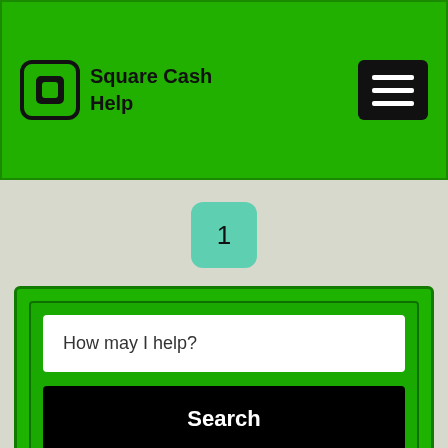Square Cash Help
1
How may I help?
Search